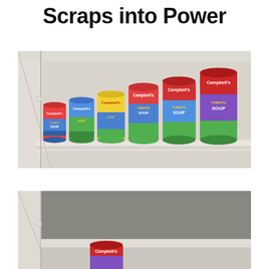Scraps into Power
[Figure (photo): Photo of colorful Campbell's Tomato Soup cans arranged on a white wooden cabinet shelf, styled in Andy Warhol pop-art manner with vivid colors (red, blue, green, yellow, purple). Cans vary in size from smaller in front to larger in back.]
[Figure (photo): Second photo from same series — partial view of same white wooden cabinet with another colorful Campbell's soup can partially visible at bottom, similar pop-art styled can in bright colors.]